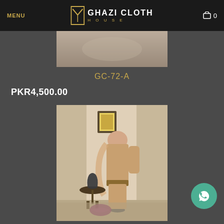MENU  GHAZI CLOTH HOUSE  0
[Figure (photo): Top partial view of a fabric/clothing product on a mannequin, beige/tan tones]
GC-72-A
PKR4,500.00
[Figure (photo): Full product photo of a peach/tan salwar kameez suit displayed on a mannequin in a decorated studio setting with a small table, vase, and cushion]